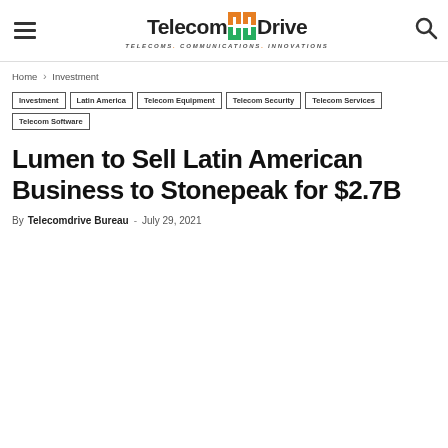Telecomdrive — Telecoms. Communications. Innovations.
Home › Investment
Investment
Latin America
Telecom Equipment
Telecom Security
Telecom Services
Telecom Software
Lumen to Sell Latin American Business to Stonepeak for $2.7B
By Telecomdrive Bureau - July 29, 2021